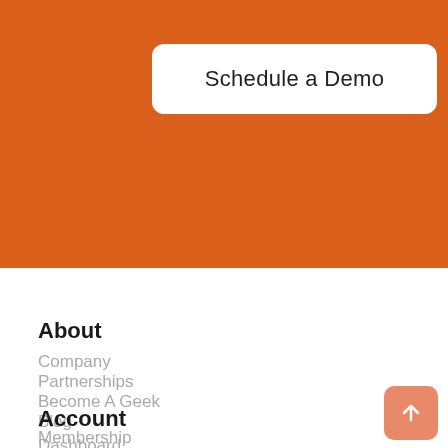[Figure (other): Orange background banner section at top of page]
Schedule a Demo
About
Company
Partnerships
Become A Geek
Blog
Membership
Account
Dashboard